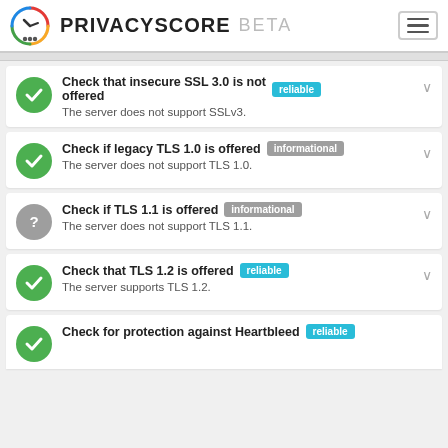PRIVACYSCORE BETA
Check that insecure SSL 3.0 is not offered — reliable. The server does not support SSLv3.
Check if legacy TLS 1.0 is offered — informational. The server does not support TLS 1.0.
Check if TLS 1.1 is offered — informational. The server does not support TLS 1.1.
Check that TLS 1.2 is offered — reliable. The server supports TLS 1.2.
Check for protection against Heartbleed — reliable.